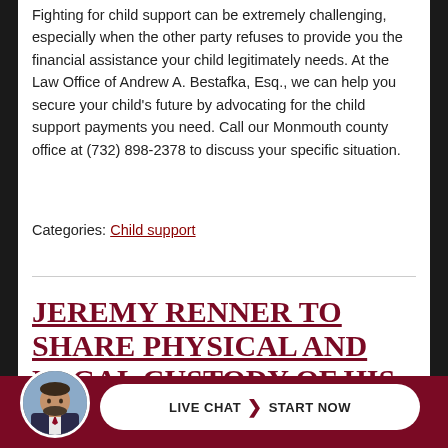Fighting for child support can be extremely challenging, especially when the other party refuses to provide you the financial assistance your child legitimately needs. At the Law Office of Andrew A. Bestafka, Esq., we can help you secure your child's future by advocating for the child support payments you need. Call our Monmouth county office at (732) 898-2378 to discuss your specific situation.
Categories: Child support
Jeremy Renner to share physical and legal custody of his daughter
Co... ...tle